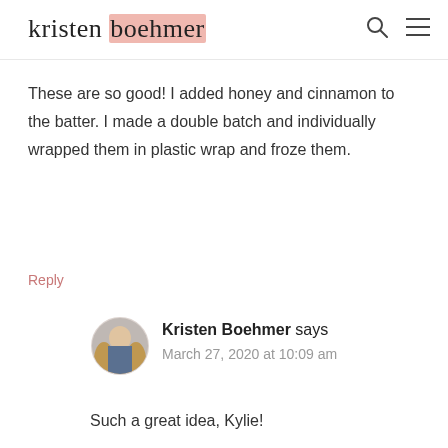kristen boehmer
These are so good! I added honey and cinnamon to the batter. I made a double batch and individually wrapped them in plastic wrap and froze them.
Reply
[Figure (photo): Circular avatar photo of Kristen Boehmer, a woman with long blonde/light brown hair]
Kristen Boehmer says
March 27, 2020 at 10:09 am
Such a great idea, Kylie!